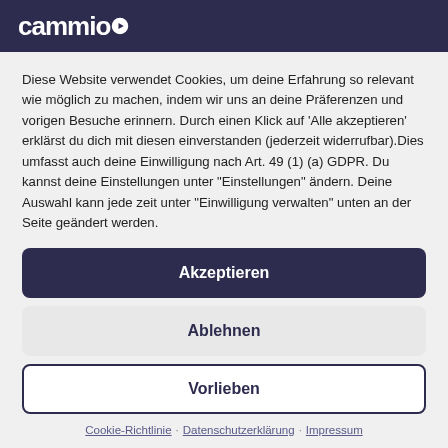cammio
Diese Website verwendet Cookies, um deine Erfahrung so relevant wie möglich zu machen, indem wir uns an deine Präferenzen und vorigen Besuche erinnern. Durch einen Klick auf 'Alle akzeptieren' erklärst du dich mit diesen einverstanden (jederzeit widerrufbar).Dies umfasst auch deine Einwilligung nach Art. 49 (1) (a) GDPR. Du kannst deine Einstellungen unter "Einstellungen" ändern. Deine Auswahl kann jede zeit unter "Einwilligung verwalten" unten an der Seite geändert werden.
Akzeptieren
Ablehnen
Vorlieben
Cookie-Richtlinie · Datenschutzerklärung · Impressum